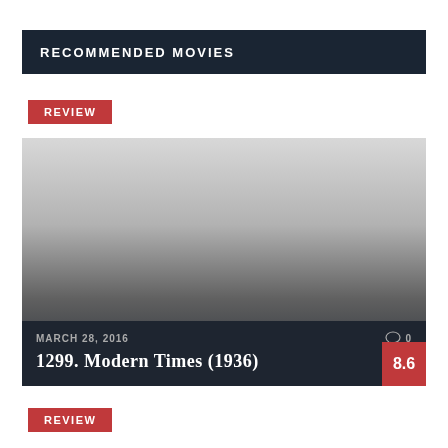RECOMMENDED MOVIES
REVIEW
[Figure (photo): Movie card image area with gradient from light gray to dark, showing movie details at the bottom including date MARCH 28, 2016, comment icon with 0, title 1299. Modern Times (1936), and rating badge 8.6]
REVIEW